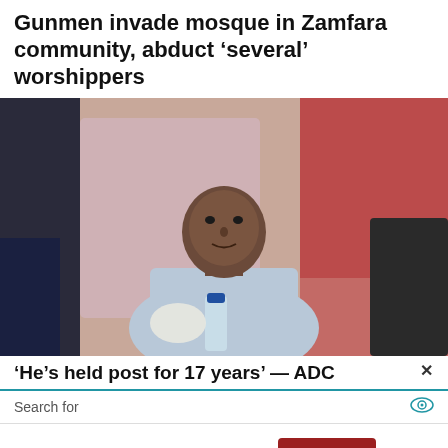Gunmen invade mosque in Zamfara community, abduct ‘several’ worshippers
[Figure (photo): A man in a light blue traditional Nigerian outfit seated at a table with a water bottle in front of him, at what appears to be a formal event or conference.]
‘He’s held post for 17 years’ — ADC
Search for
This website uses cookies.
Accept